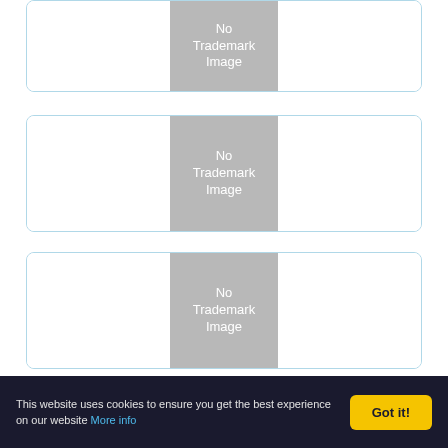[Figure (other): Trademark card row 1 with gray placeholder showing 'No Trademark Image']
[Figure (other): Trademark card row 2 with gray placeholder showing 'No Trademark Image']
[Figure (other): Trademark card row 3 with gray placeholder showing 'No Trademark Image']
[Figure (other): Trademark card row 4 with gray placeholder showing 'No Trademark']
This website uses cookies to ensure you get the best experience on our website More info